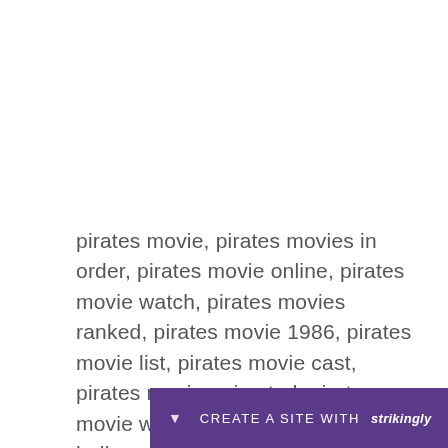pirates movie, pirates movies in order, pirates movie online, pirates movie watch, pirates movies ranked, pirates movie 1986, pirates movie list, pirates movie cast, pirates movie animated, pirates movie with mermaids, pirates movie hollywood, pirates movie 2005 cast
CREATE A SITE WITH strikingly